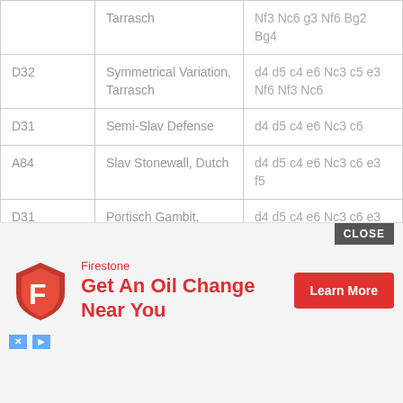|  | Name | Moves |
| --- | --- | --- |
|  | Tarrasch | Nf3 Nc6 g3 Nf6 Bg2 Bg4 |
| D32 | Symmetrical Variation, Tarrasch | d4 d5 c4 e6 Nc3 c5 e3 Nf6 Nf3 Nc6 |
| D31 | Semi-Slav Defense | d4 d5 c4 e6 Nc3 c6 |
| A84 | Slav Stonewall, Dutch | d4 d5 c4 e6 Nc3 c6 e3 f5 |
| D31 | Portisch Gambit, Semi-Slav | d4 d5 c4 e6 Nc3 c6 e3 f5 g4 |
| D31 | Marshall Gambit, Semi-Slav | d4 d5 c4 e6 Nc3 c6 e4 |
| D31 |  | d4 d5 c4 e6 Nc3 c6 ... f3 |
| D31 |  |  |
[Figure (screenshot): Advertisement overlay showing Firestone oil change ad with logo, 'Get An Oil Change Near You' headline in red, 'Learn More' button in red, and a dark 'CLOSE' button. Ad icons (X and play) visible at bottom left.]